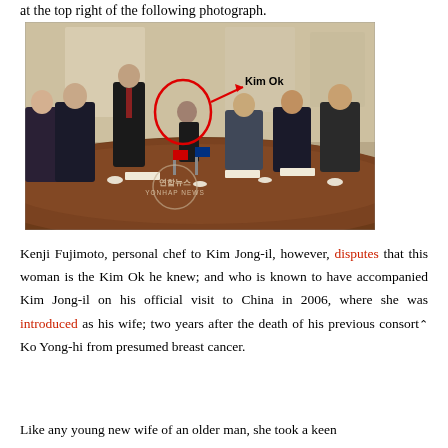at the top right of the following photograph.
[Figure (photo): Meeting room photograph showing delegates seated around a conference table. A red circle and arrow annotate a figure in the background labeled 'Kim Ok'. Yonhap News watermark visible.]
Kenji Fujimoto, personal chef to Kim Jong-il, however, disputes that this woman is the Kim Ok he knew; and who is known to have accompanied Kim Jong-il on his official visit to China in 2006, where she was introduced as his wife; two years after the death of his previous consort, Ko Yong-hi from presumed breast cancer.
Like any young new wife of an older man, she took a keen